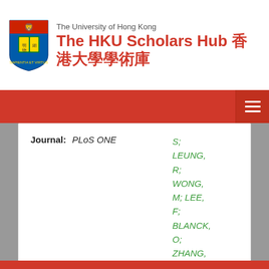The University of Hong Kong — The HKU Scholars Hub 香港大學學術庫
Journal: PLoS ONE
S; LEUNG, R; WONG, M; LEE, F; BLANCK, O; ZHANG, QH
Showing results 1 to 8 of 8